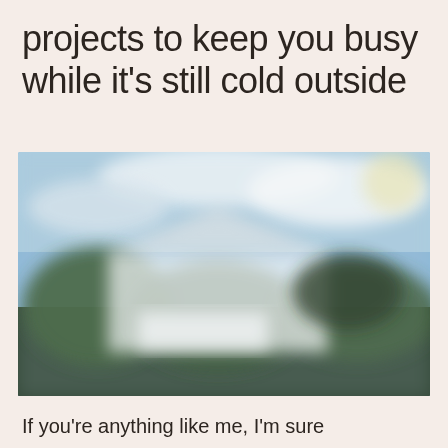projects to keep you busy while it's still cold outside
[Figure (photo): A blurred outdoor photo showing a house or building exterior with blue sky, clouds, trees, and greenery. The image appears to be intentionally blurred or out of focus.]
If you're anything like me, I'm sure